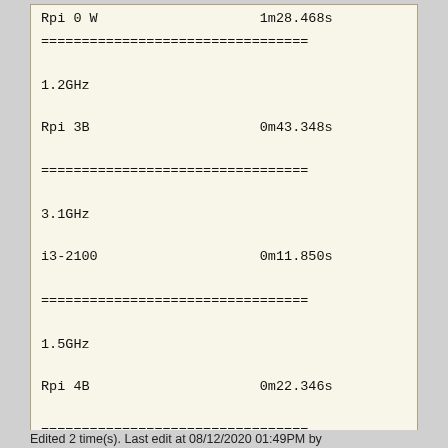Rpi 0 W                    1m28.468s
=================================
1.2GHz
Rpi 3B                     0m43.348s
=================================
3.1GHz
i3-2100                    0m11.850s
=================================
1.5GHz
Rpi 4B                     0m22.346s
=================================
3.4GHz
i3-3245                    0m10.587s
Edited 2 time(s). Last edit at 08/12/2020 01:49PM by